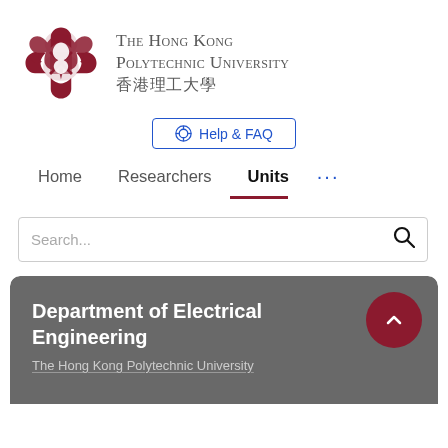[Figure (logo): The Hong Kong Polytechnic University logo with Chinese knot emblem and bilingual text]
Help & FAQ
Home   Researchers   Units   ...
Search...
Department of Electrical Engineering
The Hong Kong Polytechnic University